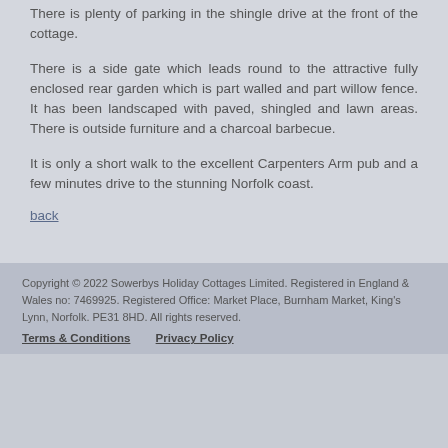There is plenty of parking in the shingle drive at the front of the cottage.
There is a side gate which leads round to the attractive fully enclosed rear garden which is part walled and part willow fence. It has been landscaped with paved, shingled and lawn areas. There is outside furniture and a charcoal barbecue.
It is only a short walk to the excellent Carpenters Arm pub and a few minutes drive to the stunning Norfolk coast.
back
Copyright © 2022 Sowerbys Holiday Cottages Limited. Registered in England & Wales no: 7469925. Registered Office: Market Place, Burnham Market, King's Lynn, Norfolk. PE31 8HD. All rights reserved.
Terms & Conditions    Privacy Policy